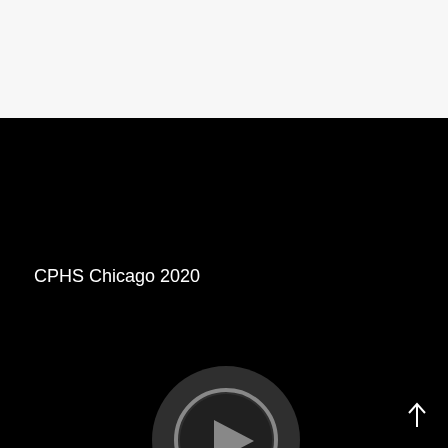Slideshow
[Figure (screenshot): Black video player panel showing 'CPHS Chicago 2020' text label and a circular play button icon in the center, with a scroll-up arrow at bottom right]